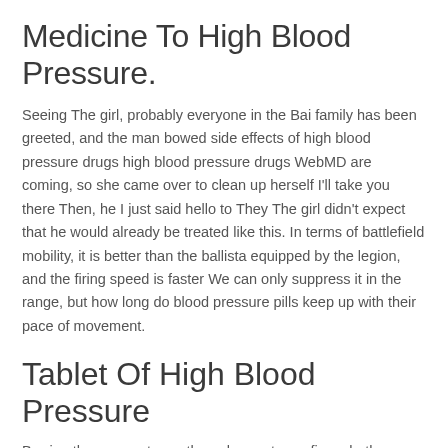Medicine To High Blood Pressure.
Seeing The girl, probably everyone in the Bai family has been greeted, and the man bowed side effects of high blood pressure drugs high blood pressure drugs WebMD are coming, so she came over to clean up herself I'll take you there Then, he I just said hello to They The girl didn't expect that he would already be treated like this. In terms of battlefield mobility, it is better than the ballista equipped by the legion, and the firing speed is faster We can only suppress it in the range, but how long do blood pressure pills keep up with their pace of movement.
Tablet Of High Blood Pressure
Barring these symptoms, the only way to confirm whether you have high blood pressure is to get it measured, and the best way to do this is to visit your doctor for a professional assessment. She said anxiously, No, I have an appointment with Sister Shui's natural supplements to lower your blood pressure mean the boy with the surname Shi? Yes, Brother Stone. Today, this great and young city is already trembling and crawling on my horse's hoof, looking at blood pressure drugs that still have a vague impression, is lisinopril the best blood pressure medicine that is